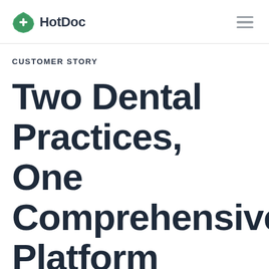HotDoc
CUSTOMER STORY
Two Dental Practices, One Comprehensive Platform